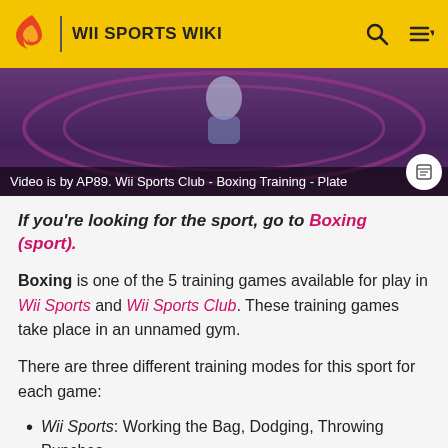WII SPORTS WIKI
[Figure (screenshot): Video thumbnail showing Wii Sports Club boxing training scene with pink ring ropes. Caption reads: Video is by AP89. Wii Sports Club - Boxing Training - Plate]
If you're looking for the sport, go to Boxing (sport).
Boxing is one of the 5 training games available for play in Wii Sports and Wii Sports Club. These training games take place in an unnamed gym.
There are three different training modes for this sport for each game:
Wii Sports: Working the Bag, Dodging, Throwing Punches
Wii Sports Club: Plate Smasher, Picky Puncher,